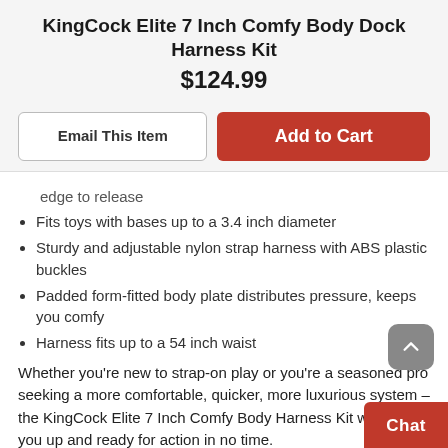KingCock Elite 7 Inch Comfy Body Dock Harness Kit
$124.99
Email This Item | Add to Cart
edge to release
Fits toys with bases up to a 3.4 inch diameter
Sturdy and adjustable nylon strap harness with ABS plastic buckles
Padded form-fitted body plate distributes pressure, keeps you comfy
Harness fits up to a 54 inch waist
Whether you’re new to strap-on play or you’re a seasoned pro seeking a more comfortable, quicker, more luxurious system – the KingCock Elite 7 Inch Comfy Body Harness Kit will have you up and ready for action in no time.
Take An Ultra-Realistic Ride!
With special dual-density silicone construction, th